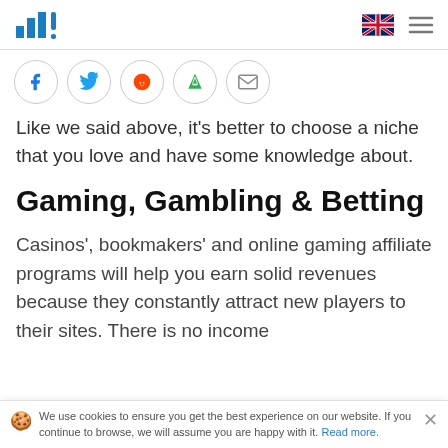Ins! [logo] — UK flag — hamburger menu
[Figure (other): Social sharing buttons: Facebook, Twitter, Reddit, Feedly, Email]
Like we said above, it's better to choose a niche that you love and have some knowledge about.
Gaming, Gambling & Betting
Casinos', bookmakers' and online gaming affiliate programs will help you earn solid revenues because they constantly attract new players to their sites. There is no income
We use cookies to ensure you get the best experience on our website. If you continue to browse, we will assume you are happy with it. Read more.